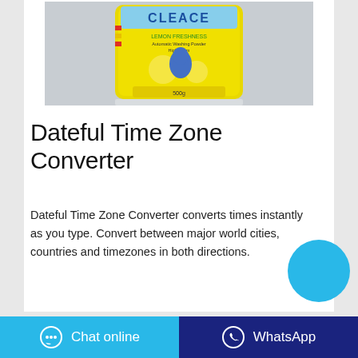[Figure (photo): Product photo of a yellow Cleace lemon freshness detergent powder bag on a grey background]
Dateful Time Zone Converter
Dateful Time Zone Converter converts times instantly as you type. Convert between major world cities, countries and timezones in both directions.
[Figure (other): Cyan/blue circular button in bottom-right area]
Chat online
WhatsApp